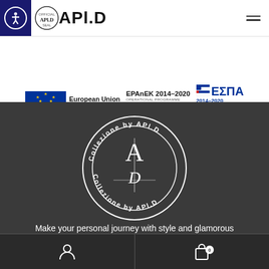[Figure (logo): APLD brand logo with accessibility icon button and hamburger menu on the right]
[Figure (logo): EU funding logos bar: European Union European Regional Development Fund, EPAnEK 2014-2020 Operational Programme Competitiveness Entrepreneurship Innovation, ESPA 2014-2020 Partnership Agreement 2014-2020]
[Figure (logo): Collezione by APLD circular emblem/seal on dark background]
Make your personal journey with style and glamorous